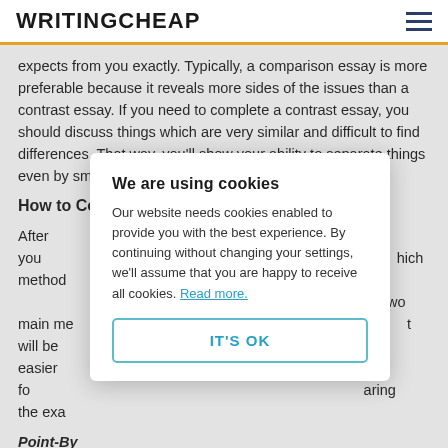WRITINGCHEAP
expects from you exactly. Typically, a comparison essay is more preferable because it reveals more sides of the issues than a contrast essay. If you need to complete a contrast essay, you should discuss things which are very similar and difficult to find differences. That way, you'll show your ability to separate things even by small details.
How to Compare?
After you [choose the topic and define which method …] are two main me[thods …] t will be easier fo[r …] aring the exa[mples …]
Point-By[…]
Let's sup[pose …] e and black tea on people's health. We need to choose aspects
We are using cookies
Our website needs cookies enabled to provide you with the best experience. By continuing without changing your settings, we'll assume that you are happy to receive all cookies. Read more.
IT'S OK